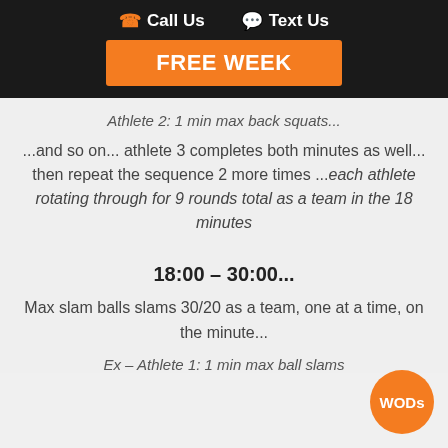Call Us   Text Us
FREE WEEK
Athlete 2: 1 min max back squats...
...and so on... athlete 3 completes both minutes as well... then repeat the sequence 2 more times ...each athlete rotating through for 9 rounds total as a team in the 18 minutes
18:00 – 30:00...
Max slam balls slams 30/20 as a team, one at a time, on the minute...
Ex – Athlete 1: 1 min max ball slams